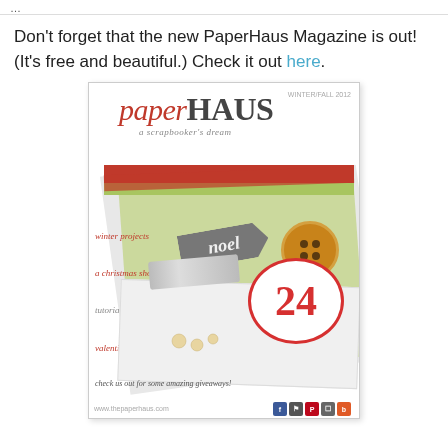…
Don't forget that the new PaperHaus Magazine is out! (It's free and beautiful.) Check it out here.
[Figure (photo): Cover of PaperHaus Magazine, a scrapbooker's dream, featuring the masthead in red cursive 'paper' and bold grey 'HAUS', with Christmas-themed craft decorations including a 'noel' tag, a clothespin, a button, and a '24' circle tag in red, plus green and red striped paper elements.]